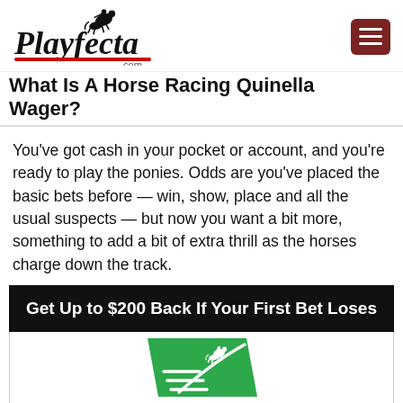[Figure (logo): Playfecta.com logo with horse and rider silhouette, red underline accent]
What Is A Horse Racing Quinella Wager?
You've got cash in your pocket or account, and you're ready to play the ponies. Odds are you've placed the basic bets before — win, show, place and all the usual suspects — but now you want a bit more, something to add a bit of extra thrill as the horses charge down the track.
[Figure (infographic): Black promotional banner: Get Up to $200 Back If Your First Bet Loses, with TVG logo (green parallelogram with horse racing imagery and TVG text below)]